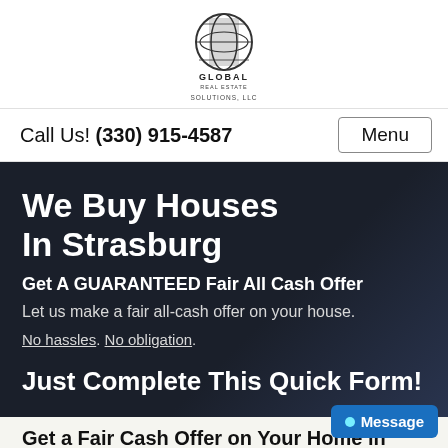[Figure (logo): Global Real Estate Solutions LLC globe logo with text]
Call Us! (330) 915-4587
We Buy Houses In Strasburg
Get A GUARANTEED Fair All Cash Offer
Let us make a fair all-cash offer on your house.
No hassles. No obligation.
Just Complete This Quick Form!
Get a Fair Cash Offer on Your Home in